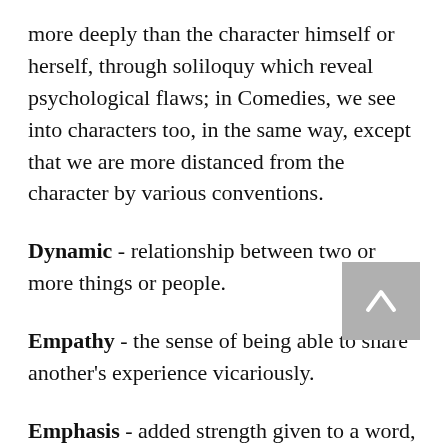more deeply than the character himself or herself, through soliloquy which reveal psychological flaws; in Comedies, we see into characters too, in the same way, except that we are more distanced from the character by various conventions.
Dynamic - relationship between two or more things or people.
Empathy - the sense of being able to share another's experience vicariously.
Emphasis - added strength given to a word, sound or action. Emphasis can be strengthened by absences or silences around it.